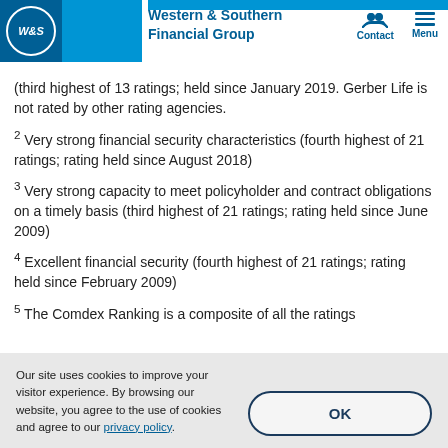Western & Southern Financial Group
(third highest of 13 ratings; held since January 2019. Gerber Life is not rated by other rating agencies.
2 Very strong financial security characteristics (fourth highest of 21 ratings; rating held since August 2018)
3 Very strong capacity to meet policyholder and contract obligations on a timely basis (third highest of 21 ratings; rating held since June 2009)
4 Excellent financial security (fourth highest of 21 ratings; rating held since February 2009)
5 The Comdex Ranking is a composite of all the ratings
Our site uses cookies to improve your visitor experience. By browsing our website, you agree to the use of cookies and agree to our privacy policy.